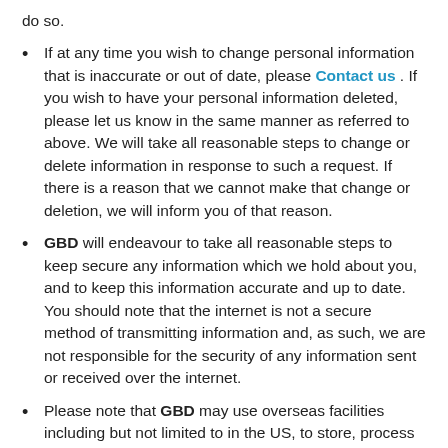do so.
If at any time you wish to change personal information that is inaccurate or out of date, please Contact us . If you wish to have your personal information deleted, please let us know in the same manner as referred to above. We will take all reasonable steps to change or delete information in response to such a request. If there is a reason that we cannot make that change or deletion, we will inform you of that reason.
GBD will endeavour to take all reasonable steps to keep secure any information which we hold about you, and to keep this information accurate and up to date. You should note that the internet is not a secure method of transmitting information and, as such, we are not responsible for the security of any information sent or received over the internet.
Please note that GBD may use overseas facilities including but not limited to in the US, to store, process or back up its information. As a result, we may transfer your personal information to our overseas facilities. However, this does not